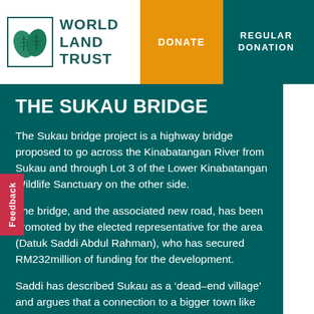World Land Trust | DONATE | REGULAR DONATION
THE SUKAU BRIDGE
The Sukau bridge project is a highway bridge proposed to go across the Kinabatangan River from Sukau and through Lot 3 of the Lower Kinabatangan Wildlife Sanctuary on the other side.
The bridge, and the associated new road, has been promoted by the elected representative for the area (Datuk Saddi Abdul Rahman), who has secured RM232million of funding for the development.
Saddi has described Sukau as a ‘dead-end village’ and argues that a connection to a bigger town like Lahad Datu is the key to stimulating its development and